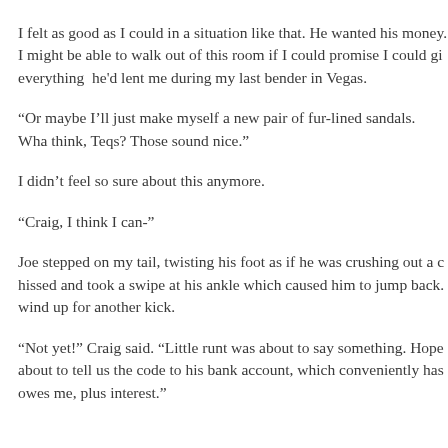I felt as good as I could in a situation like that. He wanted his money. I might be able to walk out of this room if I could promise I could give everything  he'd lent me during my last bender in Vegas.
“Or maybe I’ll just make myself a new pair of fur-lined sandals. Wha think, Teqs? Those sound nice.”
I didn’t feel so sure about this anymore.
“Craig, I think I can-”
Joe stepped on my tail, twisting his foot as if he was crushing out a c hissed and took a swipe at his ankle which caused him to jump back. wind up for another kick.
“Not yet!” Craig said. “Little runt was about to say something. Hope about to tell us the code to his bank account, which conveniently has owes me, plus interest.”